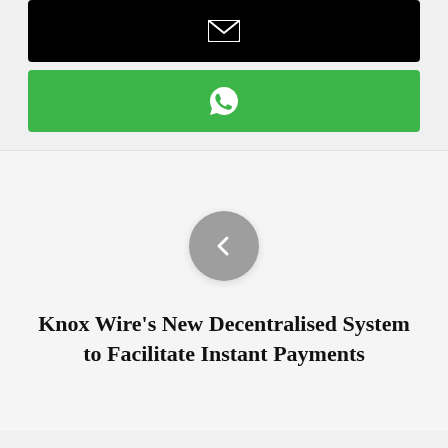[Figure (other): Black button with white email/envelope icon]
[Figure (other): Green WhatsApp button with white WhatsApp icon]
[Figure (other): Gray circular back/previous navigation button with left chevron arrow]
Knox Wire's New Decentralised System to Facilitate Instant Payments